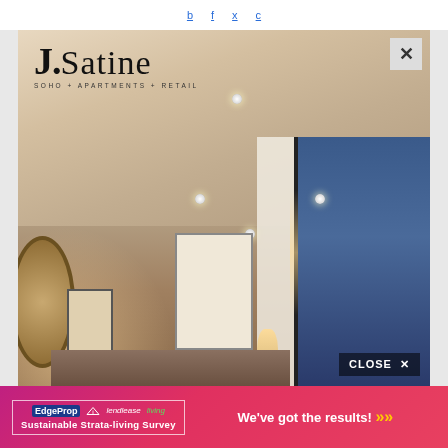b   f   x   c
[Figure (photo): Advertisement for J.Satine SOHO + APARTMENTS + RETAIL. Interior photo of a modern apartment room with cream/beige walls and ceiling, recessed lighting, large window with city view, wall art, mirror, and bedroom furnishings.]
J.Satine
SOHO + APARTMENTS + RETAIL
CLOSE ×
× (close button top right)
EdgeProp   lendlease living   Sustainable Strata-living Survey   We've got the results! »